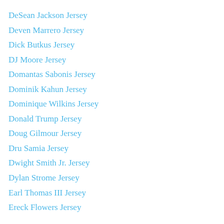DeSean Jackson Jersey
Deven Marrero Jersey
Dick Butkus Jersey
DJ Moore Jersey
Domantas Sabonis Jersey
Dominik Kahun Jersey
Dominique Wilkins Jersey
Donald Trump Jersey
Doug Gilmour Jersey
Dru Samia Jersey
Dwight Smith Jr. Jersey
Dylan Strome Jersey
Earl Thomas III Jersey
Ereck Flowers Jersey